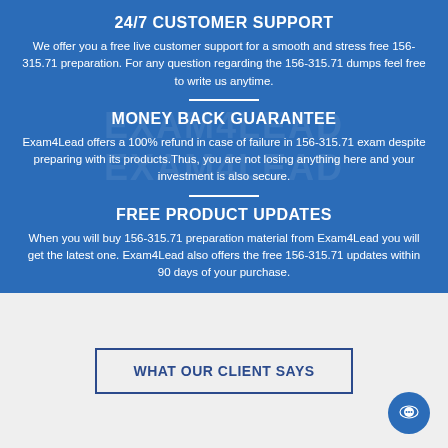24/7 CUSTOMER SUPPORT
We offer you a free live customer support for a smooth and stress free 156-315.71 preparation. For any question regarding the 156-315.71 dumps feel free to write us anytime.
MONEY BACK GUARANTEE
Exam4Lead offers a 100% refund in case of failure in 156-315.71 exam despite preparing with its products.Thus, you are not losing anything here and your investment is also secure.
FREE PRODUCT UPDATES
When you will buy 156-315.71 preparation material from Exam4Lead you will get the latest one. Exam4Lead also offers the free 156-315.71 updates within 90 days of your purchase.
WHAT OUR CLIENT SAYS